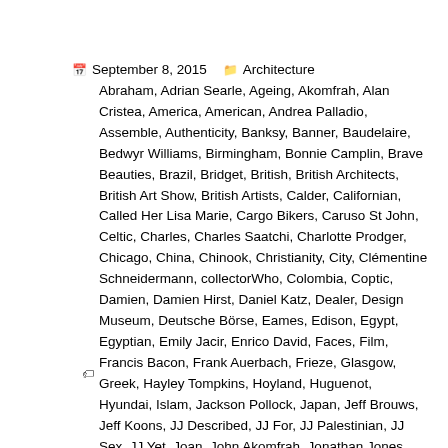September 8, 2015   Architecture   Abraham, Adrian Searle, Ageing, Akomfrah, Alan Cristea, America, American, Andrea Palladio, Assemble, Authenticity, Banksy, Banner, Baudelaire, Bedwyr Williams, Birmingham, Bonnie Camplin, Brave Beauties, Brazil, Bridget, British, British Architects, British Art Show, British Artists, Calder, Californian, Called Her Lisa Marie, Cargo Bikers, Caruso St John, Celtic, Charles, Charles Saatchi, Charlotte Prodger, Chicago, China, Chinook, Christianity, City, Clémentine Schneidermann, collectorWho, Colombia, Coptic, Damien, Damien Hirst, Daniel Katz, Dealer, Design Museum, Deutsche Börse, Eames, Edison, Egypt, Egyptian, Emily Jacir, Enrico David, Faces, Film, Francis Bacon, Frank Auerbach, Frieze, Glasgow, Greek, Hayley Tompkins, Hoyland, Huguenot, Hyundai, Islam, Jackson Pollock, Japan, Jeff Brouws, Jeff Koons, JJ Described, JJ For, JJ Palestinian, JJ Sex, JJ Yet, Joan, John Akomfrah, Jonathan Jones, Kassel, Kentuckian, Kranitz, Larry Gagosian, Laure Prouvost, London, Longbridge, Mat Collishaw, Mayfair, Memphis, Mexican, Middle East, Mississippi, Mossad, National Gallery, New Delhi, Newport Street Gallery, Nicole Wermers, Oliver Wainwright, OW Egypt, Pakistan, Palestinian, Palladian, Phases, Pick, Porthcawl, Rachel Maclean, Ray Eames, Renaissance, Ribald, Riley, Royal Institute, Sculptor, Sean, Seurat, Shanghai, Simon Fujiwara, SOH, SOU Realist, Somerset, Songbook, South African, Tate, Tate